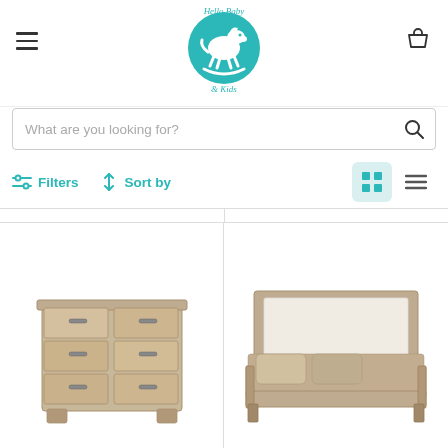[Figure (logo): Hello Baby & Kids logo — teal circle with white rocking horse silhouette, teal cursive/serif text reading 'Hello Baby & Kids']
What are you looking for?
Filters   Sort by
[Figure (photo): Beige/taupe wooden 6-drawer dresser with metal handles on white background]
[Figure (photo): Beige/taupe wooden bed frame with upholstered white headboard, beige bedding, on white background]